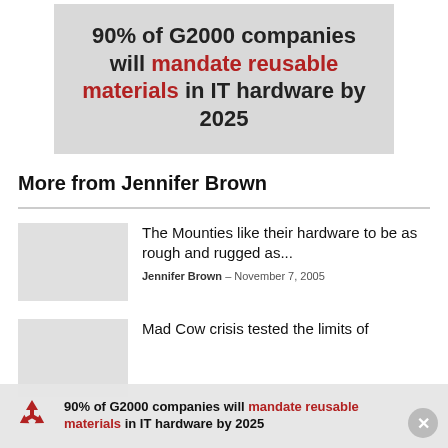[Figure (infographic): Gray box with bold text: 90% of G2000 companies will mandate reusable materials in IT hardware by 2025, with 'mandate reusable materials' in red.]
More from Jennifer Brown
The Mounties like their hardware to be as rough and rugged as...
Jennifer Brown – November 7, 2005
Mad Cow crisis tested the limits of
[Figure (infographic): Bottom sticky banner with recycle icon and text: 90% of G2000 companies will mandate reusable materials in IT hardware by 2025, with 'mandate reusable materials' in red. Close button on right.]